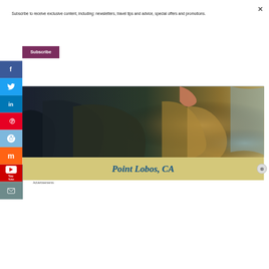Subscribe to receive exclusive content, including: newsletters, travel tips and advice, special offers and promotions.
Subscribe
[Figure (photo): Close-up photo of a person touching dark rocky coastal formations, with warm golden light on rocky cliff faces and blue water visible in the background - Point Lobos, CA coastal scene]
[Figure (infographic): Advertisement banner with yellow/tan background showing 'Point Lobos, CA' in large bold dark blue italic text]
Advertisements